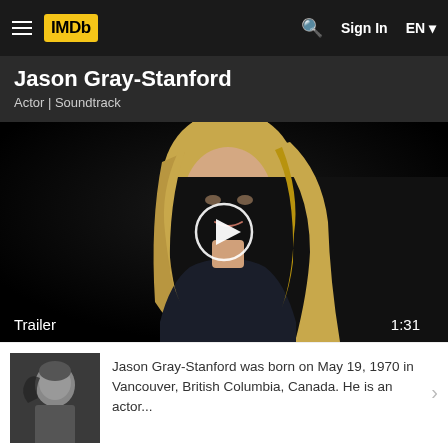IMDb — Sign In — EN
Jason Gray-Stanford
Actor | Soundtrack
[Figure (screenshot): Video thumbnail showing a blonde woman being interviewed against a dark background, with a circular play button overlay. Bottom-left label reads 'Trailer' and bottom-right shows duration '1:31'.]
Jason Gray-Stanford was born on May 19, 1970 in Vancouver, British Columbia, Canada. He is an actor...